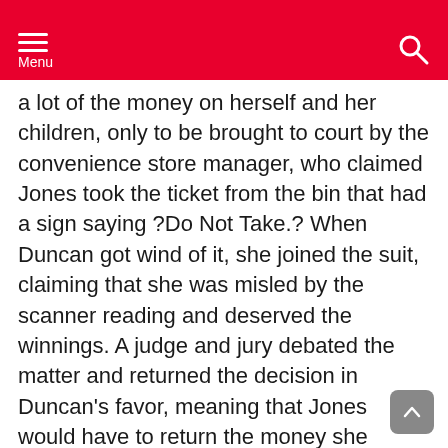Menu
a lot of the money on herself and her children, only to be brought to court by the convenience store manager, who claimed Jones took the ticket from the bin that had a sign saying ?Do Not Take.? When Duncan got wind of it, she joined the suit, claiming that she was misled by the scanner reading and deserved the winnings. A judge and jury debated the matter and returned the decision in Duncan’s favor, meaning that Jones would have to return the money she spent. Jones appealed, but before the case could go back to the courts the parties settled out of court for an undisclosed sum.
3. PayPal Accidentally Puts $92 Quadrillion in a